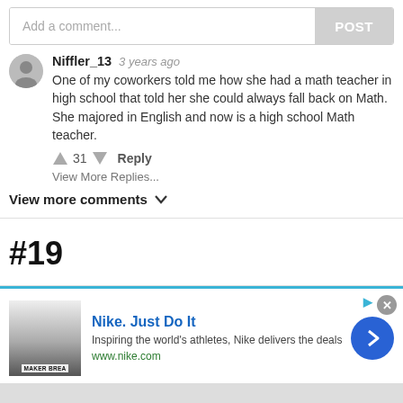Add a comment...
POST
Niffler_13  3 years ago
One of my coworkers told me how she had a math teacher in high school that told her she could always fall back on Math. She majored in English and now is a high school Math teacher.
31  Reply
View More Replies...
View more comments
#19
[Figure (screenshot): Advertisement for Nike. Just Do It showing a Nike product image thumbnail, title 'Nike. Just Do It', description 'Inspiring the world's athletes, Nike delivers the deals', URL 'www.nike.com', a close button (x), and a blue circular arrow button.]